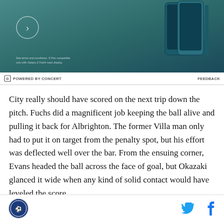[Figure (photo): Samsung Galaxy Z Fold4 advertisement banner with teal/dark green gradient background, circular arrow button on the left, fine print text at bottom left, and product phone image on right]
POWERED BY CONCERT    FEEDBACK
City really should have scored on the next trip down the pitch. Fuchs did a magnificent job keeping the ball alive and pulling it back for Albrighton. The former Villa man only had to put it on target from the penalty spot, but his effort was deflected well over the bar. From the ensuing corner, Evans headed the ball across the face of goal, but Okazaki glanced it wide when any kind of solid contact would have leveled the score.
What followed was a surprising run of sustained
[Figure (logo): Site logo - circular blue and white sports/news site logo]
[Figure (other): Twitter bird icon in cyan/blue color]
[Figure (other): Facebook f icon in blue color]